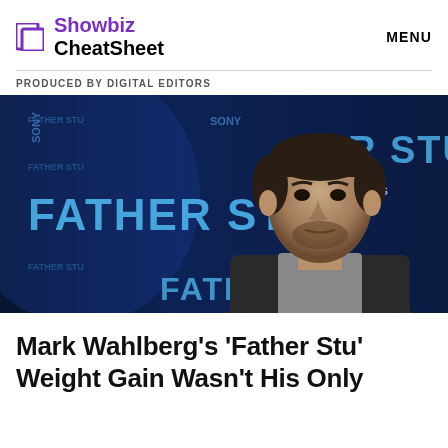Showbiz CheatSheet   MENU
PRODUCED BY DIGITAL EDITORS
[Figure (photo): Mark Wahlberg standing in front of a 'Father Stu' movie premiere backdrop with Sony logos. The backdrop shows 'FATHER STU' in large blue letters with text 'MOVIE THEATERS' and '13'. The image is dark/blue toned.]
Mark Wahlberg's 'Father Stu' Weight Gain Wasn't His Only